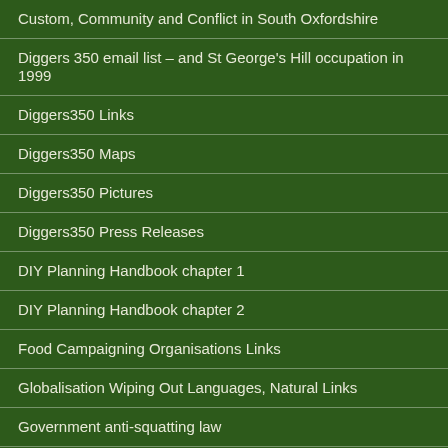Custom, Community and Conflict in South Oxfordshire
Diggers 350 email list – and St George's Hill occupation in 1999
Diggers350 Links
Diggers350 Maps
Diggers350 Pictures
Diggers350 Press Releases
DIY Planning Handbook chapter 1
DIY Planning Handbook chapter 2
Food Campaigning Organisations Links
Globalisation Wiping Out Languages, Natural Links
Government anti-squatting law
Holtsfield – About our homes.
Holtsfield – Into the Legal Maze